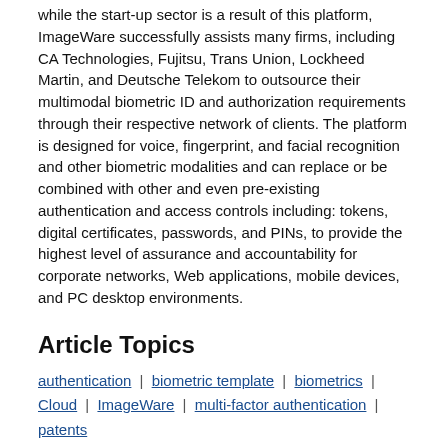while the start-up sector is a result of this platform, ImageWare successfully assists many firms, including CA Technologies, Fujitsu, Trans Union, Lockheed Martin, and Deutsche Telekom to outsource their multimodal biometric ID and authorization requirements through their respective network of clients. The platform is designed for voice, fingerprint, and facial recognition and other biometric modalities and can replace or be combined with other and even pre-existing authentication and access controls including: tokens, digital certificates, passwords, and PINs, to provide the highest level of assurance and accountability for corporate networks, Web applications, mobile devices, and PC desktop environments.
Article Topics
authentication | biometric template | biometrics | Cloud | ImageWare | multi-factor authentication | patents
Latest Biometrics News
New biometrics products, IP and standards on the way
Digi Yatra seeks to assure Indian air travelers their biometric data is safe